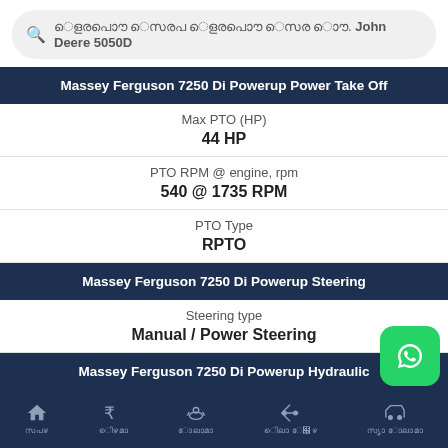John Deere 5050D (search bar)
Massey Ferguson 7250 Di Powerup Power Take Off
Max PTO (HP)
44 HP
PTO RPM @ engine, rpm
540 @ 1735 RPM
PTO Type
RPTO
Massey Ferguson 7250 Di Powerup Steering
Steering type
Manual / Power Steering
Massey Ferguson 7250 Di Powerup Hydraulic
lifting Capacity...
Home | Price | Tractors | Compare Price | Find Tractors